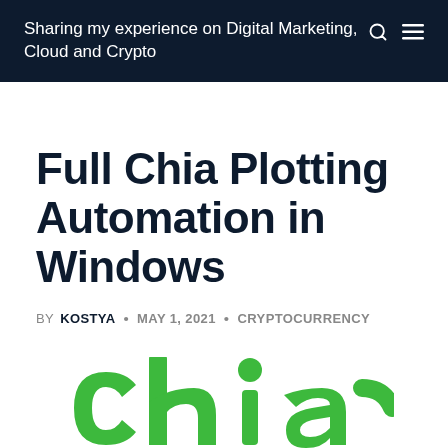Sharing my experience on Digital Marketing, Cloud and Crypto
Full Chia Plotting Automation in Windows
BY KOSTYA · MAY 1, 2021 · CRYPTOCURRENCY
[Figure (logo): Chia cryptocurrency logo shown in large green letters at the bottom of the page]